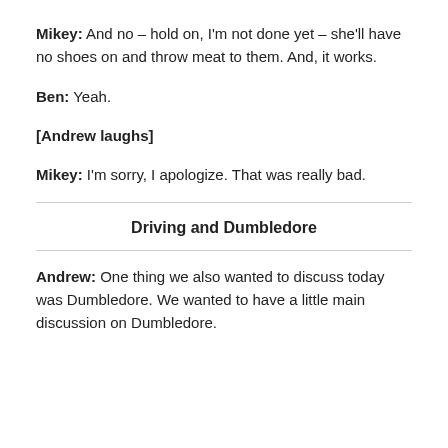Mikey: And no – hold on, I'm not done yet – she'll have no shoes on and throw meat to them. And, it works.
Ben: Yeah.
[Andrew laughs]
Mikey: I'm sorry, I apologize. That was really bad.
Driving and Dumbledore
Andrew: One thing we also wanted to discuss today was Dumbledore. We wanted to have a little main discussion on Dumbledore.